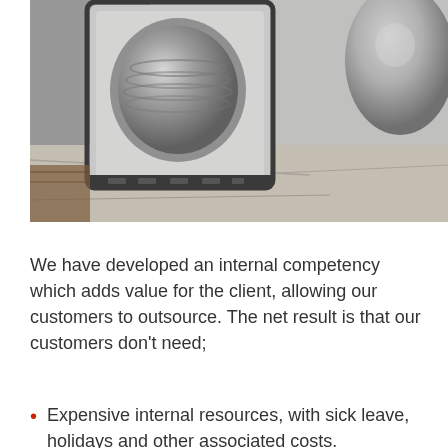[Figure (photo): Close-up photograph of metallic door lock hardware — a square brushed stainless steel deadbolt plate with a dark cylindrical knob on the left, and a round metallic door knob on the right, resting on a stone/wood surface.]
We have developed an internal competency which adds value for the client, allowing our customers to outsource. The net result is that our customers don't need;
Expensive internal resources, with sick leave, holidays and other associated costs.